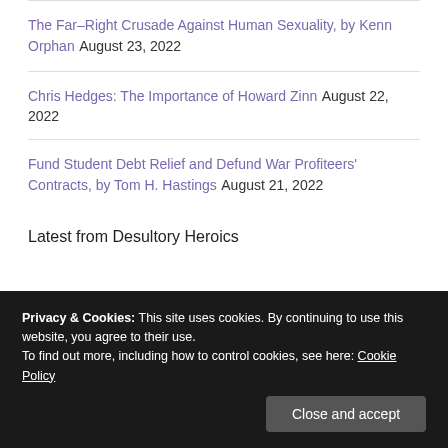The Far-Right Crusade Against Human Sexuality, by Kenn Orphan August 23, 2022
Chris Hedges: The Importance of Howard Zinn August 22, 2022
Fund Student Debt Relief and Defund War Profiteers' Contracts, by Tom H. Hastings August 21, 2022
Latest from Desultory Heroics
Privacy & Cookies: This site uses cookies. By continuing to use this website, you agree to their use. To find out more, including how to control cookies, see here: Cookie Policy
Close and accept